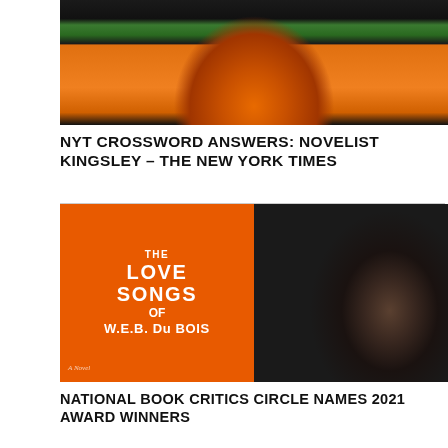[Figure (photo): Photo of a pumpkin being carved, with green foliage in the background, gloved hands visible, seeds inside the pumpkin]
NYT CROSSWORD ANSWERS: NOVELIST KINGSLEY – THE NEW YORK TIMES
[Figure (photo): Book cover of 'The Love Songs of W.E.B. Du Bois' (orange cover with tree illustration) next to a portrait photo of a woman in a black outfit against a dark background]
NATIONAL BOOK CRITICS CIRCLE NAMES 2021 AWARD WINNERS